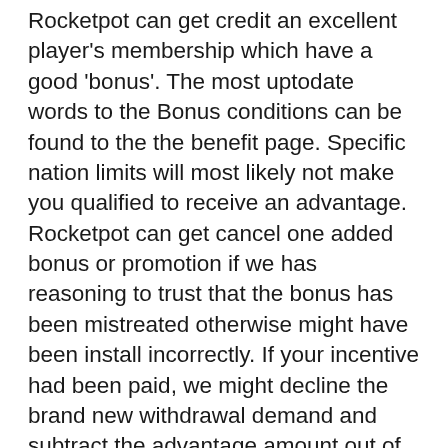Rocketpot can get credit an excellent player's membership which have a good 'bonus'. The most uptodate words to the Bonus conditions can be found to the the benefit page. Specific nation limits will most likely not make you qualified to receive an advantage. Rocketpot can get cancel one added bonus or promotion if we has reasoning to trust that the bonus has been mistreated otherwise might have been install incorrectly. If your incentive had been paid, we might decline the brand new withdrawal demand and subtract the advantage amount out of your equilibrium.
This really is undoubtedly the best MegaMoolah $1 Put Added bonus within the The brand new Zealand. Just like any